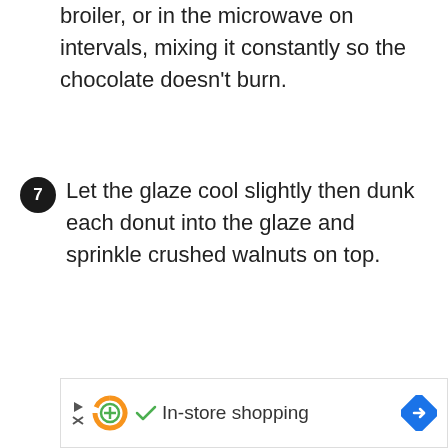broiler, or in the microwave on intervals, mixing it constantly so the chocolate doesn't burn.
7  Let the glaze cool slightly then dunk each donut into the glaze and sprinkle crushed walnuts on top.
[Figure (other): Advertisement banner with play/close buttons, a green plus icon logo, a green checkmark, the text 'In-store shopping', and a blue diamond-shaped navigation arrow icon.]